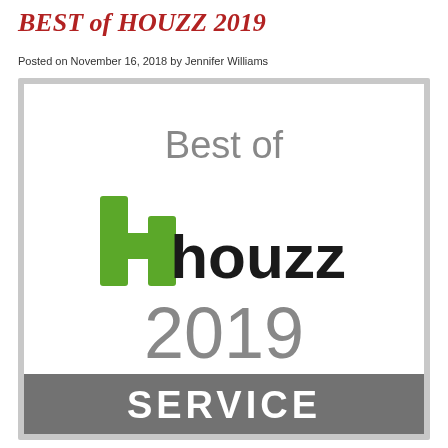BEST of HOUZZ 2019
Posted on November 16, 2018 by Jennifer Williams
[Figure (logo): Best of Houzz 2019 Service award badge. White background with gray border. Text 'Best of' in large gray font at top. Green Houzz logo icon (stylized 'h' shape) followed by 'houzz' in large black lowercase text in the middle. '2019' in large gray font below. Dark gray banner at bottom with 'SERVICE' in large white uppercase letters.]